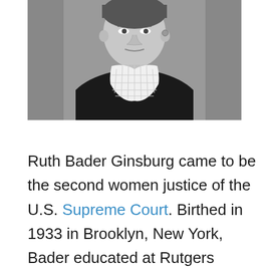[Figure (photo): Black and white portrait photograph of Ruth Bader Ginsburg wearing judicial robes and a distinctive white lace jabot collar, photographed from roughly the shoulders up against a gray background.]
Ruth Bader Ginsburg came to be the second women justice of the U.S. Supreme Court. Birthed in 1933 in Brooklyn, New York, Bader educated at Rutgers College Law College and then at Columbia College, where she became its